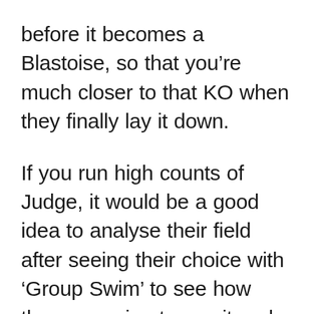before it becomes a Blastoise, so that you're much closer to that KO when they finally lay it down.
If you run high counts of Judge, it would be a good idea to analyse their field after seeing their choice with 'Group Swim' to see how they are going to use it and then Judge it away if necessary.
This will effectively take your opponent backwards a step or two seeing as their attack has been wasted and put a belt